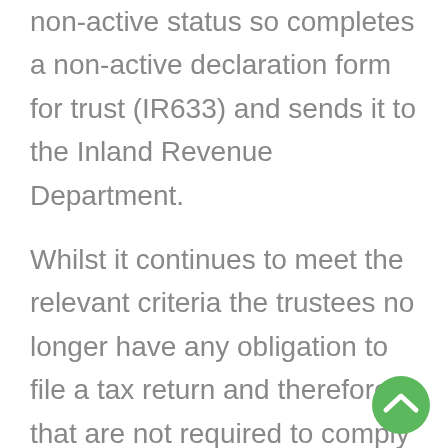non-active status so completes a non-active declaration form for trust (IR633) and sends it to the Inland Revenue Department.
Whilst it continues to meet the relevant criteria the trustees no longer have any obligation to file a tax return and therefore that are not required to comply with the new additional information disclosures.